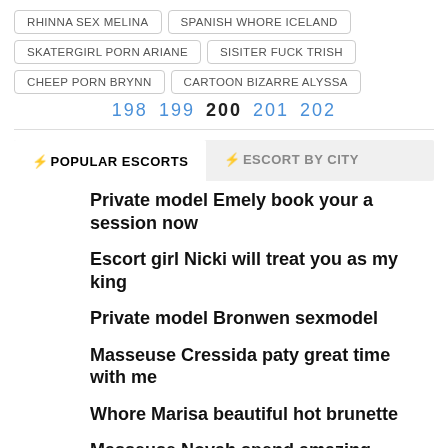RHINNA SEX MELINA
SPANISH WHORE ICELAND
SKATERGIRL PORN ARIANE
SISITER FUCK TRISH
CHEEP PORN BRYNN
CARTOON BIZARRE ALYSSA
198 199 200 201 202
⚡POPULAR ESCORTS
⚡ESCORT BY CITY
Private model Emely book your a session now
Escort girl Nicki will treat you as my king
Private model Bronwen sexmodel
Masseuse Cressida paty great time with me
Whore Marisa beautiful hot brunette
Masseuse Novah spend amazing